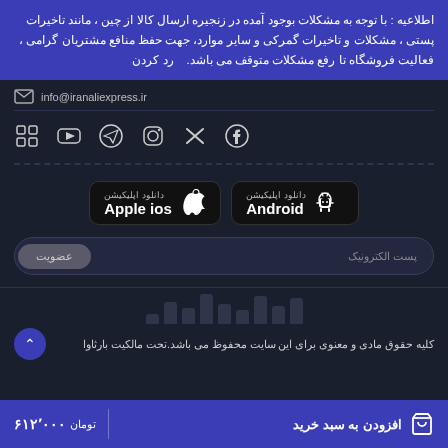اطلاعیه : با توجه به مشکلات بوجود آمده در زنجیره ارسال کالا از چین ، مانند تاخیرات پستی ، مشکلات و تاخیرات گمرکی و سایر موارد، جهت حفظ منافع مشتریان گرامی ، فعالیت فروشگاه تا رفع مشکلات متوقف می باشد. رد کردن
info@iranaliexpress.ir
[Figure (infographic): Social media icons row: grid/app icon, YouTube, Telegram, Instagram, Twitter/X, Facebook]
دانلود اپلیکیشن Android
دانلود اپلیکیشن Apple ios
پست الکترونیک
عضویت
کلیه حقوق مادی و معنوی برای این سایت محفوظ می باشد.تحت مالکیت بارثاوا
افزودن به سبد خرید
۶۱۲٬۰۰۰ تومان